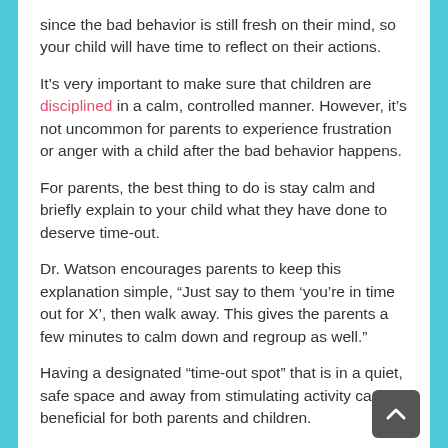since the bad behavior is still fresh on their mind, so your child will have time to reflect on their actions.
It's very important to make sure that children are disciplined in a calm, controlled manner. However, it's not uncommon for parents to experience frustration or anger with a child after the bad behavior happens.
For parents, the best thing to do is stay calm and briefly explain to your child what they have done to deserve time-out.
Dr. Watson encourages parents to keep this explanation simple, “Just say to them ‘you’re in time out for X’, then walk away. This gives the parents a few minutes to calm down and regroup as well.”
Having a designated “time-out spot” that is in a quiet, safe space and away from stimulating activity can be beneficial for both parents and children.